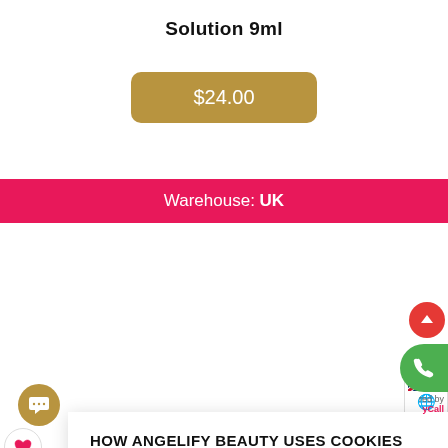Solution 9ml
$24.00
Warehouse: UK
HOW ANGELIFY BEAUTY USES COOKIES
We use cookies that help us provide you with the best possible shopping experience with us. For example, they allow us to connect to social networks, display personalised content, as well as analyse and improve the operation of our website.
ACCEPT ALL
COOKIE DETAILS